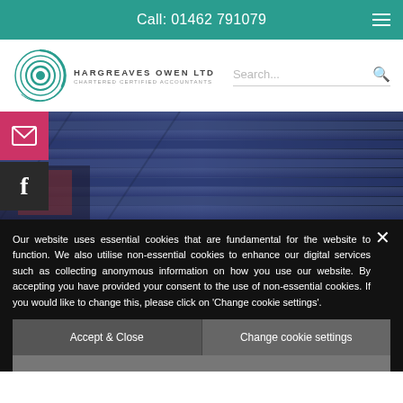Call: 01462 791079
[Figure (logo): Hargreaves Owen Ltd - Chartered Certified Accountants logo with circular swirl design]
[Figure (photo): Close-up photo of blue/grey wooden cladding or siding on a building]
[Figure (illustration): Email icon on pink/red background social media button]
[Figure (illustration): Facebook 'f' icon on dark background social media button]
Our website uses essential cookies that are fundamental for the website to function. We also utilise non-essential cookies to enhance our digital services such as collecting anonymous information on how you use our website. By accepting you have provided your consent to the use of non-essential cookies. If you would like to change this, please click on 'Change cookie settings'.
Accept & Close
Change cookie settings